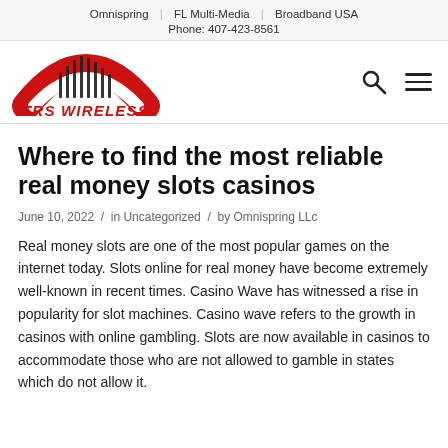Omnispring | FL Multi-Media | Broadband USA
Phone: 407-423-8561
[Figure (logo): TRS Wireless, Inc. logo — red arc with vertical bars and red bold italic text 'TRS WIRELESS, INC.']
Where to find the most reliable real money slots casinos
June 10, 2022  /  in Uncategorized  /  by Omnispring LLc
Real money slots are one of the most popular games on the internet today. Slots online for real money have become extremely well-known in recent times. Casino Wave has witnessed a rise in popularity for slot machines. Casino wave refers to the growth in casinos with online gambling. Slots are now available in casinos to accommodate those who are not allowed to gamble in states which do not allow it.